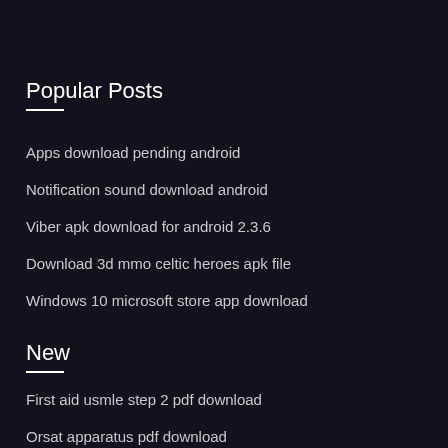Popular Posts
Apps download pending android
Notification sound download android
Viber apk download for android 2.3.6
Download 3d mmo celtic heroes apk file
Windows 10 microsoft store app download
New
First aid usmle step 2 pdf download
Orsat apparatus pdf download
Download lagu energetic wanna one mp4
Avalon hill game pdf downloads
Microsoft windows 10 edition app download